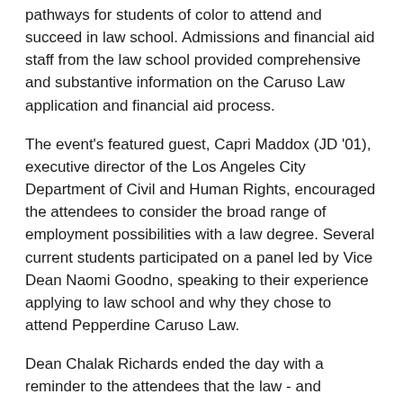pathways for students of color to attend and succeed in law school. Admissions and financial aid staff from the law school provided comprehensive and substantive information on the Caruso Law application and financial aid process.
The event's featured guest, Capri Maddox (JD '01), executive director of the Los Angeles City Department of Civil and Human Rights, encouraged the attendees to consider the broad range of employment possibilities with a law degree. Several current students participated on a panel led by Vice Dean Naomi Goodno, speaking to their experience applying to law school and why they chose to attend Pepperdine Caruso Law.
Dean Chalak Richards ended the day with a reminder to the attendees that the law - and Pepperdine Caruso Law - is a place that they can and will belong.
Related Posts